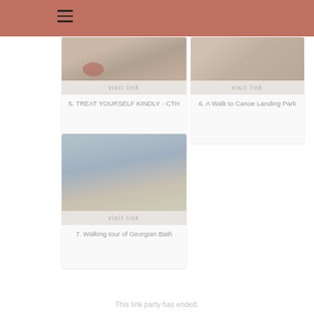[Figure (other): Hamburger menu icon on a dusty rose/terracotta header bar]
[Figure (photo): Card 5: thumbnail image of a bowl or food item, visit link bar, title text]
5. TREAT YOURSELF KINDLY - CTH
[Figure (photo): Card 6: thumbnail image possibly food/outdoor, visit link bar, title text]
6. A Walk to Canoe Landing Park
[Figure (photo): Card 7: thumbnail image of an obelisk monument in a park, visit link bar, title text]
7. Walking tour of Georgian Bath
This link party has ended.